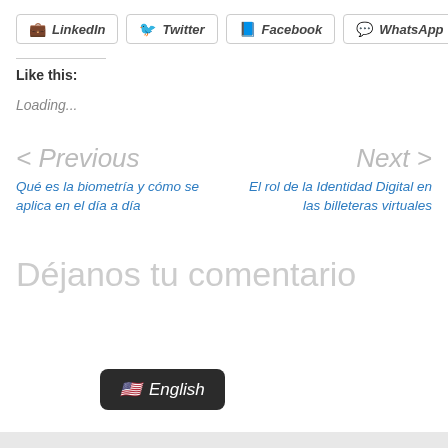[Figure (other): Social share buttons: LinkedIn, Twitter, Facebook, WhatsApp]
Like this:
Loading...
< Previous
Next >
Qué es la biometría y cómo se aplica en el día a día
El rol de la Identidad Digital en las billeteras virtuales
Déjanos tu comentario
[Figure (other): Language badge showing US flag emoji and 'English']